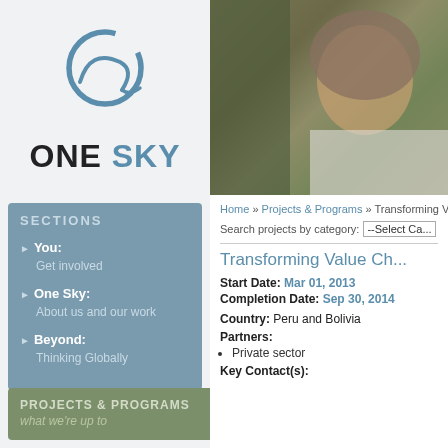[Figure (logo): One Sky organization logo with circular swoosh graphic and text 'ONE SKY']
[Figure (photo): Photo of an African woman wearing a headscarf in white clothing outdoors]
SECTIONS
You: Get involved
One Sky: About us and our work
Beyond: Thinking Globally
PROJECTS & PROGRAMS
what we're up to
Home » Projects & Programs » Transforming Value Ch...
Search projects by category: --Select Ca...
Transforming Value Ch...
Start Date: Mar 01, 2013
Completion Date: Sep 30, 2014
Country: Peru and Bolivia
Partners:
Private sector
Key Contact(s):